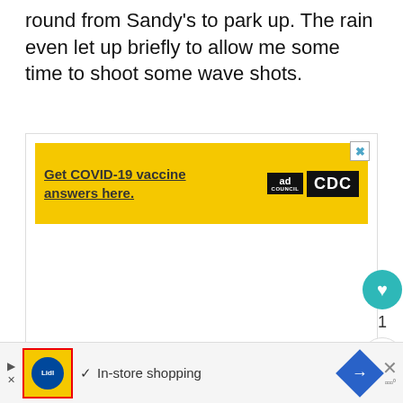round from Sandy's to park up. The rain even let up briefly to allow me some time to shoot some wave shots.
[Figure (screenshot): Yellow banner advertisement: 'Get COVID-19 vaccine answers here.' with Ad Council and CDC logos, and a close X button]
[Figure (infographic): Sidebar UI buttons: teal heart/like button, count '1', and share button]
[Figure (screenshot): Bottom banner ad for Lidl with 'In-store shopping' text, navigation arrow, and close button]